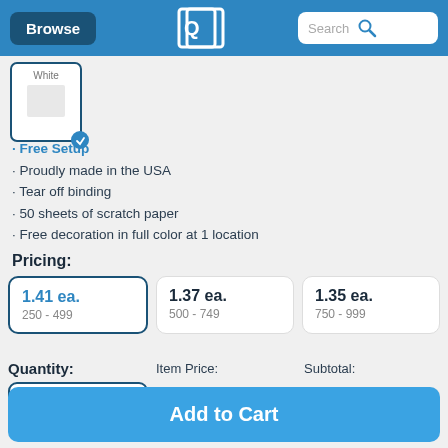Browse | [Logo] | Search
[Figure (photo): White scratch pad product image with checkmark]
• Free Setup
• Proudly made in the USA
• Tear off binding
• 50 sheets of scratch paper
• Free decoration in full color at 1 location
Pricing:
| Price | Quantity Range |
| --- | --- |
| 1.41 ea. | 250 - 499 |
| 1.37 ea. | 500 - 749 |
| 1.35 ea. | 750 - 999 |
Quantity: 250   Item Price: $1.41   Subtotal: $352.50
Add to Cart